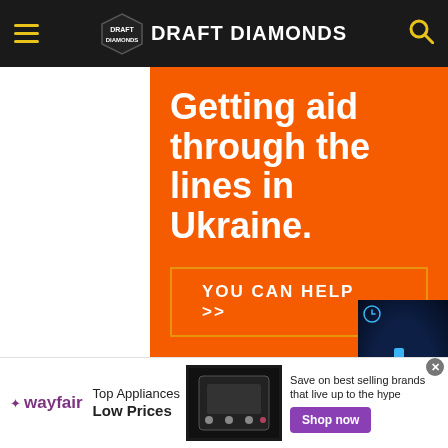Draft Diamonds
[Figure (screenshot): Orange advertisement banner reading 'Getting aid through the lines in Ukraine.' with 'YOU CAN HELP >>' button and ezoic attribution]
[Figure (screenshot): Dark blue video player overlay with blue bar chart play icon, Q icon top-left, mute icon bottom-left]
[Figure (screenshot): Wayfair advertisement banner: Top Appliances Low Prices, Save on best selling brands that live up to the hype, Shop now button]